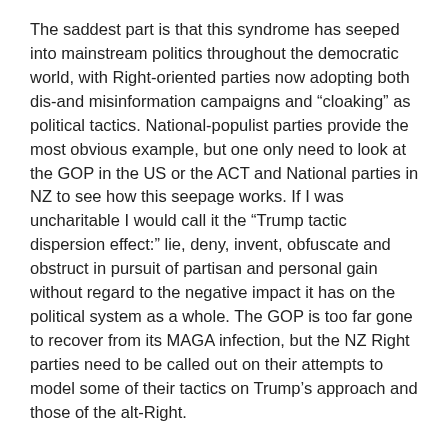The saddest part is that this syndrome has seeped into mainstream politics throughout the democratic world, with Right-oriented parties now adopting both dis-and misinformation campaigns and “cloaking” as political tactics. National-populist parties provide the most obvious example, but one only need to look at the GOP in the US or the ACT and National parties in NZ to see how this seepage works. If I was uncharitable I would call it the “Trump tactic dispersion effect:” lie, deny, invent, obfuscate and obstruct in pursuit of partisan and personal gain without regard to the negative impact it has on the political system as a whole. The GOP is too far gone to recover from its MAGA infection, but the NZ Right parties need to be called out on their attempts to model some of their tactics on Trump’s approach and those of the alt-Right.
The irony is that the major beneficiaries of this dispersion effect are authoritarians, both those internal to the societies